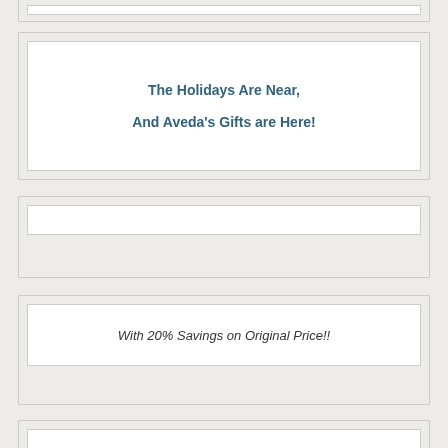The Holidays Are Near,
And Aveda's Gifts are Here!
With 20% Savings on Original Price!!